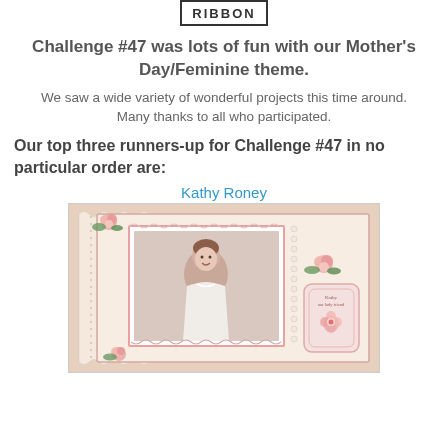[Figure (logo): RIBBON logo/badge in a bordered box at the top center of the page]
Challenge #47 was lots of fun with our Mother's Day/Feminine theme.
We saw a wide variety of wonderful projects this time around. Many thanks to all who participated.
Our top three runners-up for Challenge #47 in no particular order are:
Kathy Roney
[Figure (photo): A vintage-style scrapbook page featuring a framed photo of a young child (toddler girl in white dress), decorated with pink roses, lace, pearls, and floral embellishments on a pink and cream background.]